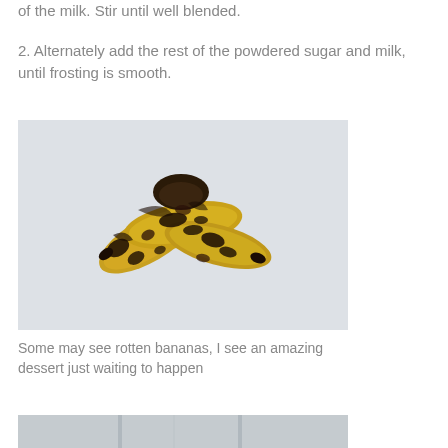of the milk. Stir until well blended.
2. Alternately add the rest of the powdered sugar and milk, until frosting is smooth.
[Figure (photo): Three very ripe bananas with heavy dark brown/black spotting on yellow skin, arranged on a light grey/white background.]
Some may see rotten bananas, I see an amazing dessert just waiting to happen
[Figure (photo): Partial view of another photo at the bottom of the page, showing a light-colored surface with vertical lines, cut off at the page edge.]